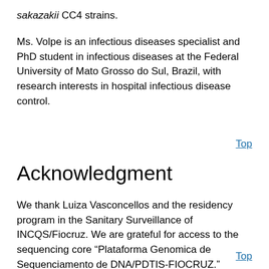sakazakii CC4 strains.
Ms. Volpe is an infectious diseases specialist and PhD student in infectious diseases at the Federal University of Mato Grosso do Sul, Brazil, with research interests in hospital infectious disease control.
Top
Acknowledgment
We thank Luiza Vasconcellos and the residency program in the Sanitary Surveillance of INCQS/Fiocruz. We are grateful for access to the sequencing core “Plataforma Genomica de Sequenciamento de DNA/PDTIS-FIOCRUZ.”
Top